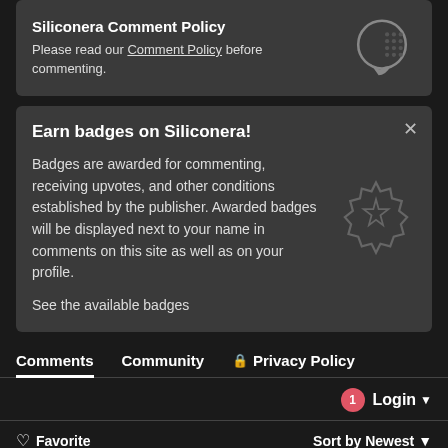Siliconera Comment Policy
Please read our Comment Policy before commenting.
Earn badges on Siliconera!
Badges are awarded for commenting, receiving upvotes, and other conditions established by the publisher. Awarded badges will be displayed next to your name in comments on this site as well as on your profile.
See the available badges
Comments  Community  Privacy Policy
1  Login
Favorite  Sort by Newest
Join the discussion